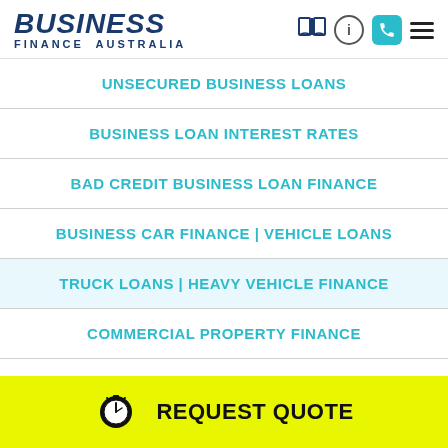BUSINESS FINANCE AUSTRALIA
UNSECURED BUSINESS LOANS
BUSINESS LOAN INTEREST RATES
BAD CREDIT BUSINESS LOAN FINANCE
BUSINESS CAR FINANCE | VEHICLE LOANS
TRUCK LOANS | HEAVY VEHICLE FINANCE
COMMERCIAL PROPERTY FINANCE
UNSECURED LOANS BAD CREDIT
REQUEST QUOTE